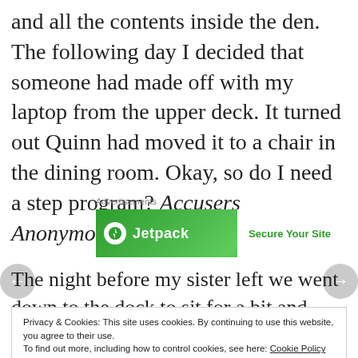and all the contents inside the den. The following day I decided that someone had made off with my laptop from the upper deck. It turned out Quinn had moved it to a chair in the dining room. Okay, so do I need a step program? Accusers Anonymous maybe?
Advertisements
[Figure (other): Jetpack advertisement banner with green background showing Jetpack logo and 'Secure Your Site' button]
The night before my sister left we went down to the dock to sit for a bit and discovered an empty
Privacy & Cookies: This site uses cookies. By continuing to use this website, you agree to their use. To find out more, including how to control cookies, see here: Cookie Policy
Close and accept